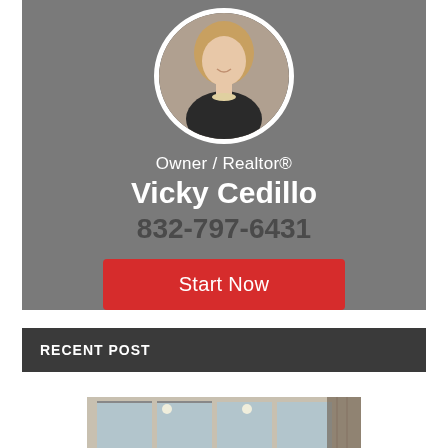[Figure (photo): Circular profile photo of Vicky Cedillo, a blonde woman wearing a black blazer and pearl necklace, set against a gray background card]
Owner / Realtor®
Vicky Cedillo
832-797-6431
Start Now
RECENT POST
[Figure (photo): Interior photo of a modern space with large floor-to-ceiling windows and pendant lights]